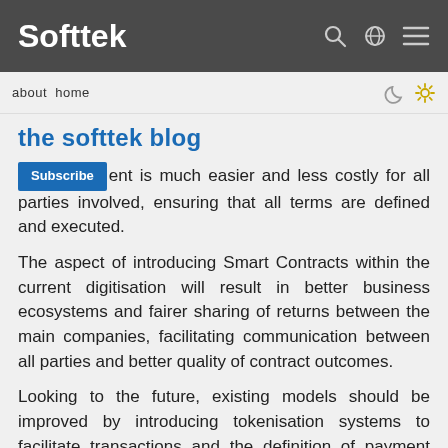Softtek
about home
the softtek blog
Subscribe  ent is much easier and less costly for all parties involved, ensuring that all terms are defined and executed.
The aspect of introducing Smart Contracts within the current digitisation will result in better business ecosystems and fairer sharing of returns between the main companies, facilitating communication between all parties and better quality of contract outcomes.
Looking to the future, existing models should be improved by introducing tokenisation systems to facilitate transactions and the definition of payment methods, making it easier for parties making a large upfront investment to earn profits.